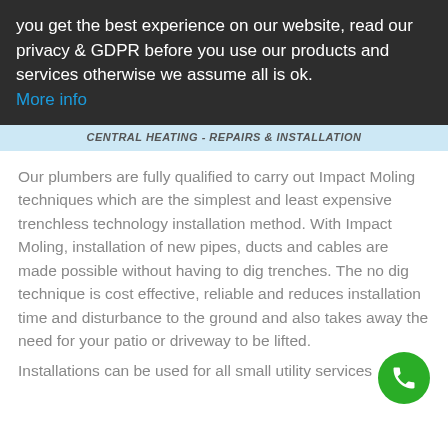you get the best experience on our website, read our privacy & GDPR before you use our products and services otherwise we assume all is ok. More info
CENTRAL HEATING - REPAIRS & INSTALLATION
Our plumbers are fully qualified to carry out Impact Moling techniques which are the simplest and least expensive trenchless technology installation method. With Impact Moling, installation of new pipes, ducts and cables are made possible without having to dig trenches. The no dig technique is cost effective, reliable and reduces installation time and disturbance to the ground and also takes away the need for your patio or driveway to be lifted.
Installations can be used for all small utility services